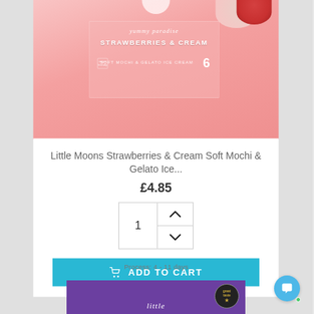[Figure (photo): Pink packaging of Little Moons Strawberries & Cream Soft Mochi & Gelato Ice Cream product, 6 pieces, on a pink textured background with strawberry visible at top right]
Little Moons Strawberries & Cream Soft Mochi & Gelato Ice...
£4.85
[Figure (other): Quantity stepper UI element showing '1' with up and down chevron arrows]
ADD TO CART
Process: 4 - 11 days
[Figure (photo): Purple packaging of Little Moons product with 'great taste' award badge and 'little moons' text in white serif font]